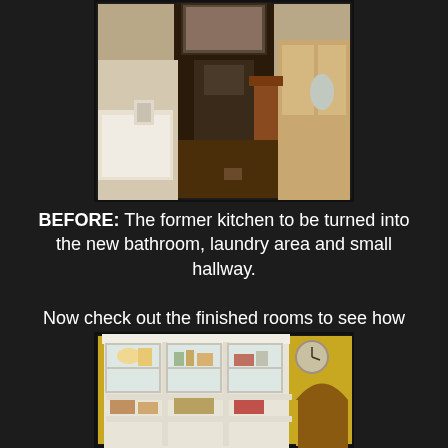[Figure (photo): Before photo: interior view of a kitchen/bathroom area with hardwood floors, cabinetry, and a bathtub visible on the left side]
BEFORE:  The former kitchen to be turned into the new bathroom, laundry area and small hallway.
Now check out the finished rooms to see how they were transformed.
[Figure (photo): After photo: white built-in shelving unit with glass doors filled with items, next to a yellow wall with an arched doorway]